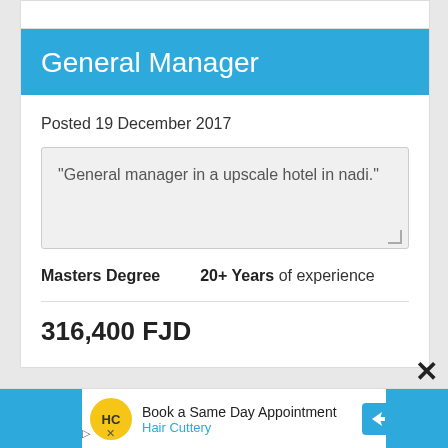General Manager
Posted 19 December 2017
"General manager in a upscale hotel in nadi."
Masters Degree    20+ Years of experience
316,400 FJD
[Figure (screenshot): Advertisement: Book a Same Day Appointment - Hair Cuttery]
Book a Same Day Appointment
Hair Cuttery